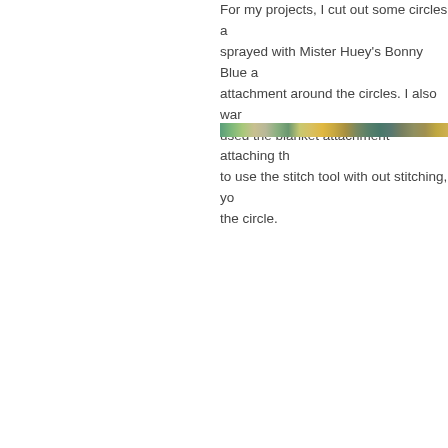For my projects, I cut out some circles a... sprayed with Mister Huey's Bonny Blue a... attachment around the circles. I also war... used the blanket attachment attaching th... to use the stitch tool with out stitching, yo... the circle.
[Figure (photo): A narrow horizontal strip of a colorful craft or textile photo, partially visible, showing teal, green, yellow, and brown tones.]